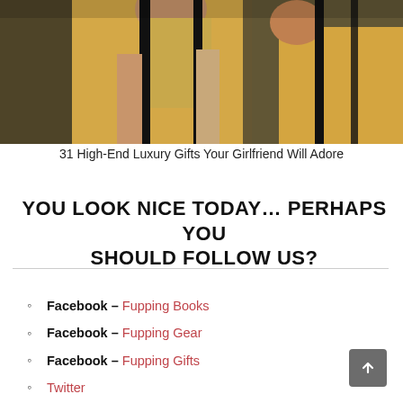[Figure (photo): Fashion photo showing women wearing yellow/gold and black outfits, cropped to upper body]
31 High-End Luxury Gifts Your Girlfriend Will Adore
YOU LOOK NICE TODAY… PERHAPS YOU SHOULD FOLLOW US?
Facebook – Fupping Books
Facebook – Fupping Gear
Facebook – Fupping Gifts
Twitter